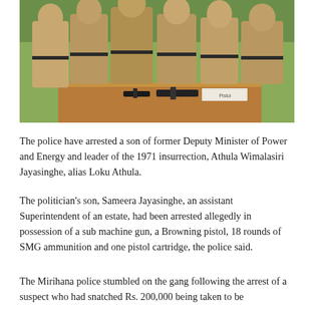[Figure (photo): A group of police officers in khaki uniforms standing behind a wooden table. On the table are what appear to be firearms and a label/placard. The officers are posing for a photograph outdoors.]
The police have arrested a son of former Deputy Minister of Power and Energy and leader of the 1971 insurrection, Athula Wimalasiri Jayasinghe, alias Loku Athula.
The politician's son, Sameera Jayasinghe, an assistant Superintendent of an estate, had been arrested allegedly in possession of a sub machine gun, a Browning pistol, 18 rounds of SMG ammunition and one pistol cartridge, the police said.
The Mirihana police stumbled on the gang following the arrest of a suspect who had snatched Rs. 200,000 being taken to be